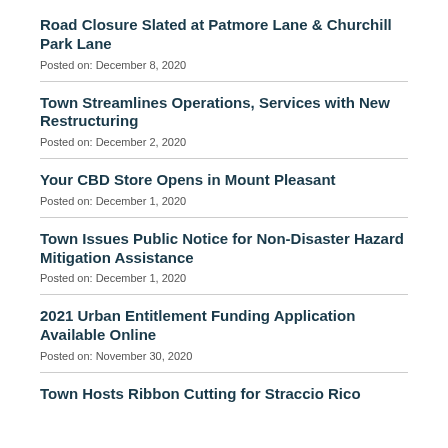Road Closure Slated at Patmore Lane & Churchill Park Lane
Posted on: December 8, 2020
Town Streamlines Operations, Services with New Restructuring
Posted on: December 2, 2020
Your CBD Store Opens in Mount Pleasant
Posted on: December 1, 2020
Town Issues Public Notice for Non-Disaster Hazard Mitigation Assistance
Posted on: December 1, 2020
2021 Urban Entitlement Funding Application Available Online
Posted on: November 30, 2020
Town Hosts Ribbon Cutting for Straccio Rico